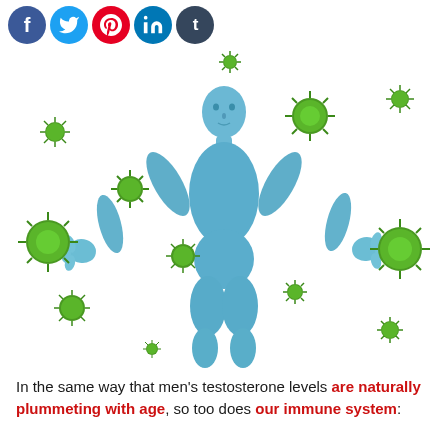Social share icons: Facebook, Twitter, Pinterest, LinkedIn, Tumblr
[Figure (illustration): A blue 3D rendered human male figure with arms outstretched, surrounded by multiple green virus/pathogen particles of various sizes on a white background, depicting the immune system fighting viruses.]
In the same way that men's testosterone levels are naturally plummeting with age, so too does our immune system: